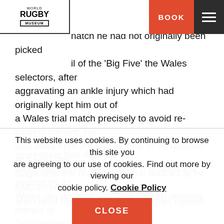[Figure (logo): World Rugby Museum logo with bordered text]
d the Grand Slam.
natch he had not originally been pick...il of the 'Big Five' the Wales selectors, after aggravating an ankle injury which had originally kept him out of a Wales trial match precisely to avoid re-injuring himself. He was axed from the squad, only to be recalled at a very late stage after the first and second choices at fly-half, John Bevan and David Richards were themselves injured.
Although Bennett did not get on the scoresheet that day his pass sent in JPR Williams for the fullback's second try as Wales ran up what was their highest winning margin at Twickenham at that time.
This website uses cookies. By continuing to browse this site you are agreeing to our use of cookies. Find out more by viewing our cookie policy. Cookie Policy